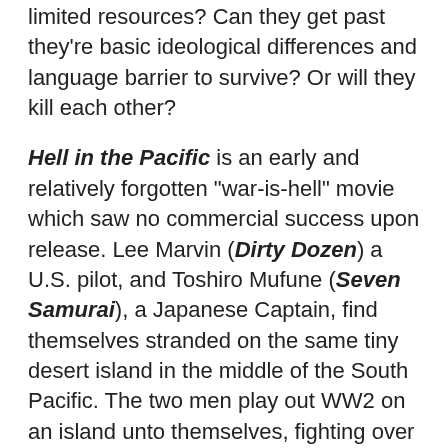limited resources? Can they get past they're basic ideological differences and language barrier to survive? Or will they kill each other?
Hell in the Pacific is an early and relatively forgotten "war-is-hell" movie which saw no commercial success upon release. Lee Marvin (Dirty Dozen) a U.S. pilot, and Toshiro Mufune (Seven Samurai), a Japanese Captain, find themselves stranded on the same tiny desert island in the middle of the South Pacific. The two men play out WW2 on an island unto themselves, fighting over a puddle of water. Filmed on an actual remote Pacific island, the cinematography is breathtaking. The beauty of the location acts as a stark backdrop against the violence the two men perpetrate on one another.